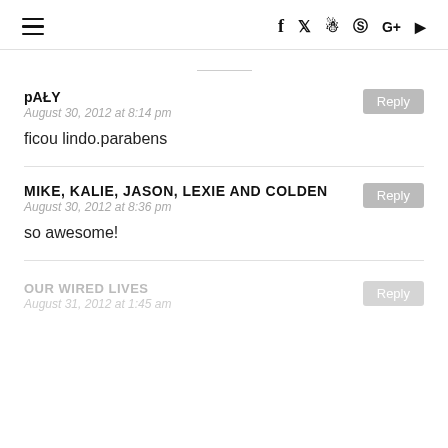≡  f  🐦  📷  Pinterest  G+  ▶
pAŁY
August 30, 2012 at 8:14 pm
ficou lindo.parabens
MIKE, KALIE, JASON, LEXIE AND COLDEN
August 30, 2012 at 8:36 pm
so awesome!
OUR WIRED LIVES
August 31, 2012 at 1:45 am